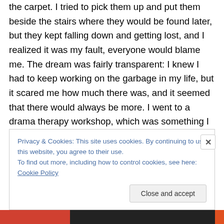the carpet. I tried to pick them up and put them beside the stairs where they would be found later, but they kept falling down and getting lost, and I realized it was my fault, everyone would blame me. The dream was fairly transparent: I knew I had to keep working on the garbage in my life, but it scared me how much there was, and it seemed that there would always be more. I went to a drama therapy workshop, which was something I had never experienced before. We dressed in costumes to represent the major issues in our life that we wanted to work on. At one point the facilitator compared the human
Privacy & Cookies: This site uses cookies. By continuing to use this website, you agree to their use.
To find out more, including how to control cookies, see here: Cookie Policy